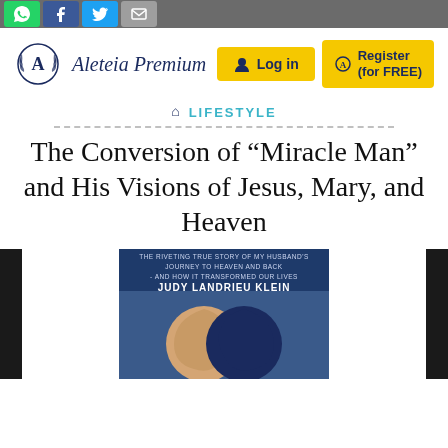Social sharing bar with WhatsApp, Facebook, Twitter, Email buttons
[Figure (logo): Aleteia Premium logo with laurel wreath emblem and italic text]
Log in
Register (for FREE)
LIFESTYLE
The Conversion of “Miracle Man” and His Visions of Jesus, Mary, and Heaven
[Figure (photo): Book cover by Judy Landrieu Klein showing two face profiles - one tan and one dark blue, with text: THE RIVETING TRUE STORY OF MY HUSBAND'S JOURNEY TO HEAVEN AND BACK - AND HOW IT TRANSFORMED OUR LIVES. JUDY LANDRIEU KLEIN]